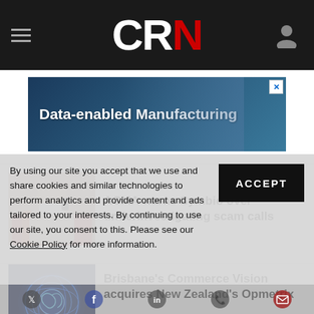CRN
[Figure (screenshot): Advertisement banner: Data-enabled Manufacturing with dark blue background and a person image]
ACMA warns Symbio over underinvestigating scam calls
Brisbane's Commerce Vision acquires New Zealand's Opmetrix
By using our site you accept that we use and share cookies and similar technologies to perform analytics and provide content and ads tailored to your interests. By continuing to use our site, you consent to this. Please see our Cookie Policy for more information.